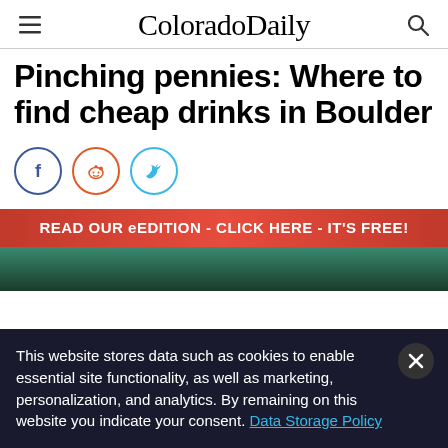ColoradoDaily
Pinching pennies: Where to find cheap drinks in Boulder
[Figure (infographic): Social sharing icons: Facebook (blue circle), Reddit (orange circle), Twitter (light blue circle)]
[Figure (infographic): Promotional banner: READ OUR eEDITION - CLICK HERE - IT'S FREE! on red gradient background]
[Figure (photo): Partial photo strip at bottom of article area, dark green tones]
This website stores data such as cookies to enable essential site functionality, as well as marketing, personalization, and analytics. By remaining on this website you indicate your consent. Data Storage Policy